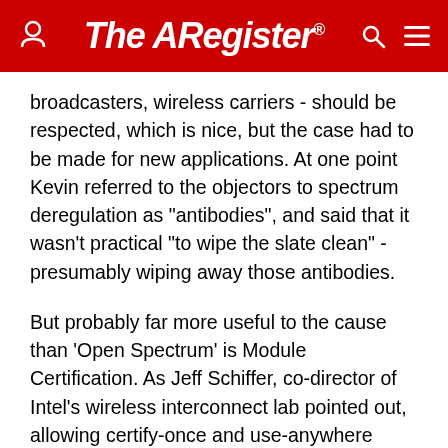The Register
broadcasters, wireless carriers - should be respected, which is nice, but the case had to be made for new applications. At one point Kevin referred to the objectors to spectrum deregulation as "antibodies", and said that it wasn't practical "to wipe the slate clean" - presumably wiping away those antibodies.
But probably far more useful to the cause than 'Open Spectrum' is Module Certification. As Jeff Schiffer, co-director of Intel's wireless interconnect lab pointed out, allowing certify-once and use-anywhere would be pretty useful to vendors.
Kahn has been taking his case to the Europe and Japan, participating in ETSI proceedings and talking to